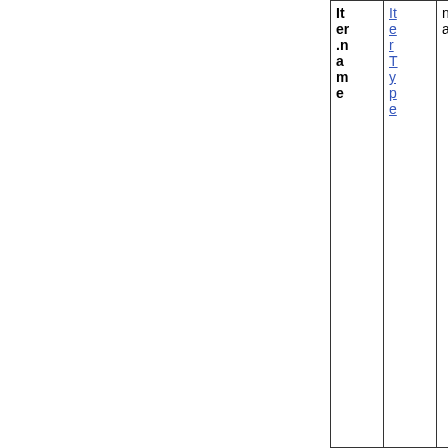| Item name | InterType | nal |
| --- | --- | --- |
|  |  |  |